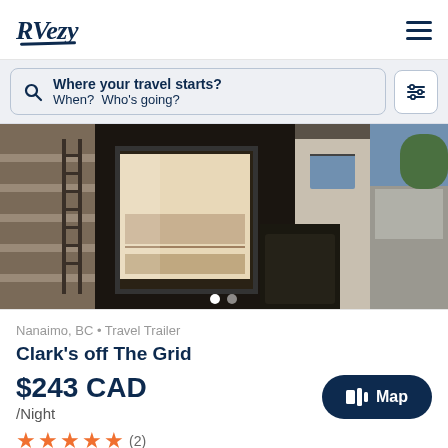[Figure (logo): RVezy logo in dark navy italic font with underline swoosh]
[Figure (screenshot): Hamburger menu icon (three horizontal lines) in dark navy]
Where your travel starts?
When? Who's going?
[Figure (photo): Photo of a travel trailer RV with an open side compartment revealing interior storage, parked in a sunny campsite with trees visible]
Nanaimo, BC • Travel Trailer
Clark's off The Grid
$243 CAD /Night
Map
★★★★★ (2)